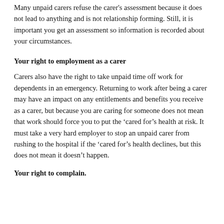Many unpaid carers refuse the carer's assessment because it does not lead to anything and is not relationship forming. Still, it is important you get an assessment so information is recorded about your circumstances.
Your right to employment as a carer
Carers also have the right to take unpaid time off work for dependents in an emergency. Returning to work after being a carer may have an impact on any entitlements and benefits you receive as a carer, but because you are caring for someone does not mean that work should force you to put the ‘cared for’s health at risk. It must take a very hard employer to stop an unpaid carer from rushing to the hospital if the ‘cared for’s health declines, but this does not mean it doesn’t happen.
Your right to complain.